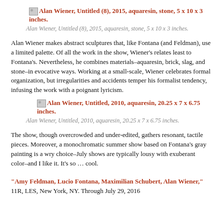[Figure (other): Linked image icon for Alan Wiener, Untitled (8), 2015, aquaresin, stone, 5 x 10 x 3 inches.]
Alan Wiener, Untitled (8), 2015, aquaresin, stone, 5 x 10 x 3 inches.
Alan Wiener makes abstract sculptures that, like Fontana (and Feldman), use a limited palette. Of all the work in the show, Wiener’s relates least to Fontana’s. Nevertheless, he combines materials–aquaresin, brick, slag, and stone–in evocative ways. Working at a small-scale, Wiener celebrates formal organization, but irregularities and accidents temper his formalist tendency, infusing the work with a poignant lyricism.
[Figure (other): Linked image icon for Alan Wiener, Untitled, 2010, aquaresin, 20.25 x 7 x 6.75 inches.]
Alan Wiener, Untitled, 2010, aquaresin, 20.25 x 7 x 6.75 inches.
The show, though overcrowded and under-edited, gathers resonant, tactile pieces. Moreover, a monochromatic summer show based on Fontana’s gray painting is a wry choice–July shows are typically lousy with exuberant color–and I like it. It’s so … cool.
“Amy Feldman, Lucio Fontana, Maximilian Schubert, Alan Wiener,” 11R, LES, New York, NY. Through July 29, 2016